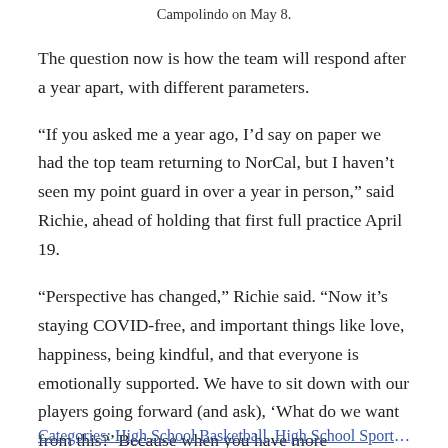Campolindo on May 8.
The question now is how the team will respond after a year apart, with different parameters.
“If you asked me a year ago, I’d say on paper we had the top team returning to NorCal, but I haven’t seen my point guard in over a year in person,” said Richie, ahead of holding that first full practice April 19.
“Perspective has changed,” Richie said. “Now it’s staying COVID-free, and important things like love, happiness, being kindful, and that everyone is emotionally supported. We have to sit down with our players going forward (and ask), ‘What do we want from this?’ Because when you have more engagement, you have more accountability.”
Categories: High School Basketball, High School Sports, Features